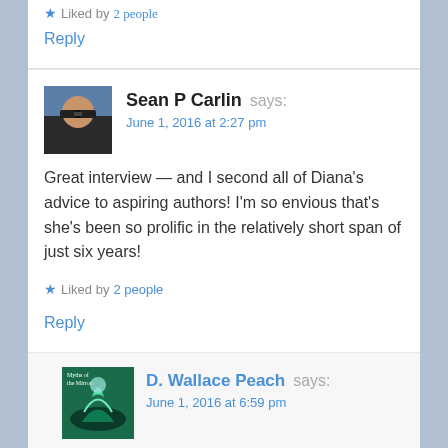Liked by 2 people
Reply
Sean P Carlin says:
June 1, 2016 at 2:27 pm
Great interview — and I second all of Diana's advice to aspiring authors! I'm so envious that's she's been so prolific in the relatively short span of just six years!
Liked by 2 people
Reply
D. Wallace Peach says:
June 1, 2016 at 6:59 pm
Thanks again, Sean. Glad you enjoyed it. 🙂